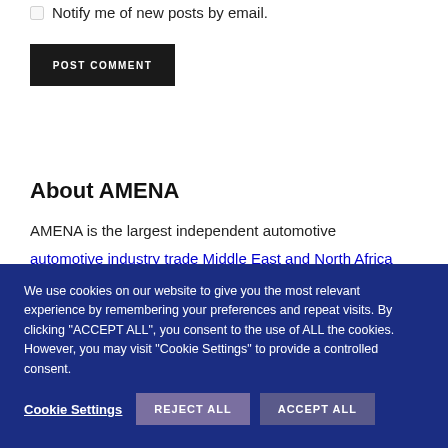Notify me of new posts by email.
POST COMMENT
About AMENA
AMENA is the largest independent automotive
We use cookies on our website to give you the most relevant experience by remembering your preferences and repeat visits. By clicking “ACCEPT ALL”, you consent to the use of ALL the cookies. However, you may visit "Cookie Settings" to provide a controlled consent.
Cookie Settings
REJECT ALL
ACCEPT ALL